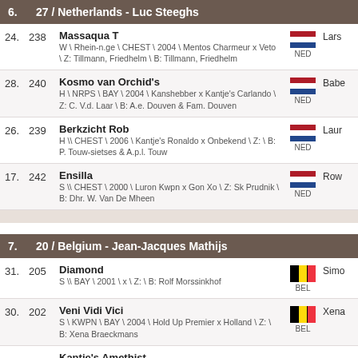6.  27 / Netherlands - Luc Steeghs
24. 238 Massaqua T W \ Rhein-n.ge \ CHEST \ 2004 \ Mentos Charmeur x Veto \ Z: Tillmann, Friedhelm \ B: Tillmann, Friedhelm  NED Lars
28. 240 Kosmo van Orchid's H \ NRPS \ BAY \ 2004 \ Kanshebber x Kantje's Carlando \ Z: C. V.d. Laar \ B: A.e. Douven & Fam. Douven  NED Babe
26. 239 Berkzicht Rob H \\ CHEST \ 2006 \ Kantje's Ronaldo x Onbekend \ Z: \ B: P. Touw-sietses & A.p.l. Touw  NED Laur
17. 242 Ensilla S \\ CHEST \ 2000 \ Luron Kwpn x Gon Xo \ Z: Sk Prudnik \ B: Dhr. W. Van De Mheen  NED Rowe
7.  20 / Belgium - Jean-Jacques Mathijs
31. 205 Diamond S \\ BAY \ 2001 \ x \ Z: \ B: Rolf Morssinkhof  BEL Simo
30. 202 Veni Vidi Vici S \ KWPN \ BAY \ 2004 \ Hold Up Premier x Holland \ Z: \ B: Xena Braeckmans  BEL Xena
Kantje's Amethist